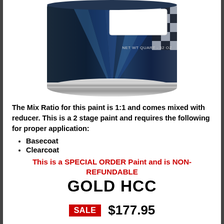[Figure (photo): A paint can with dark blue/black metallic design, checkered flag pattern, white label area on front, and silver rim at bottom. Text 'NET WT QUART - 32 OZ' visible on can.]
The Mix Ratio for this paint is 1:1 and comes mixed with reducer. This is a 2 stage paint and requires the following for proper application:
Basecoat
Clearcoat
This is a SPECIAL ORDER Paint and is NON-REFUNDABLE
GOLD HCC
SALE $177.95